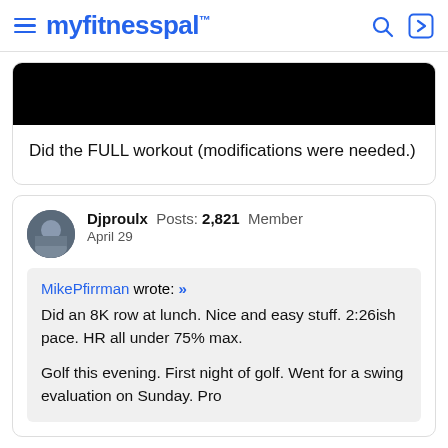myfitnesspal
[Figure (photo): Black image/screenshot at top of post card]
Did the FULL workout (modifications were needed.)
Djproulx  Posts: 2,821  Member
April 29
MikePfirrman wrote: »
Did an 8K row at lunch. Nice and easy stuff. 2:26ish pace. HR all under 75% max.

Golf this evening. First night of golf. Went for a swing evaluation on Sunday. Pro